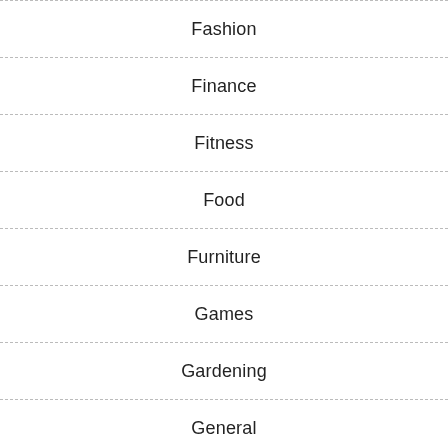Fashion
Finance
Fitness
Food
Furniture
Games
Gardening
General